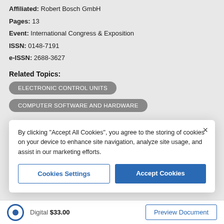Affiliated: Robert Bosch GmbH
Pages: 13
Event: International Congress & Exposition
ISSN: 0148-7191
e-ISSN: 2688-3627
Related Topics:
ELECTRONIC CONTROL UNITS
COMPUTER SOFTWARE AND HARDWARE
By clicking "Accept All Cookies", you agree to the storing of cookies on your device to enhance site navigation, analyze site usage, and assist in our marketing efforts.
Cookies Settings
Accept Cookies
Digital $33.00
Preview Document